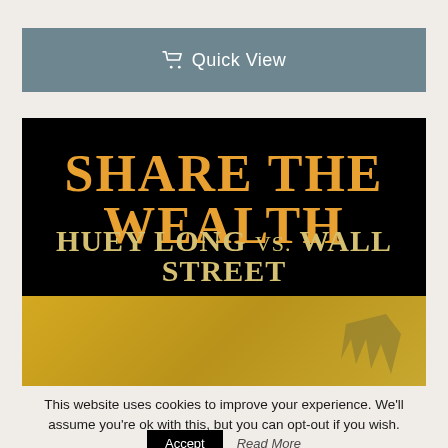🛒 Quick View
[Figure (illustration): Book cover for 'Share the Wealth: Huey Long vs. Wall Street' — black background with large orange art-deco style text for the title and gold subtitle text, with a golden textured banner at the bottom.]
This website uses cookies to improve your experience. We'll assume you're ok with this, but you can opt-out if you wish.
Accept  Read More